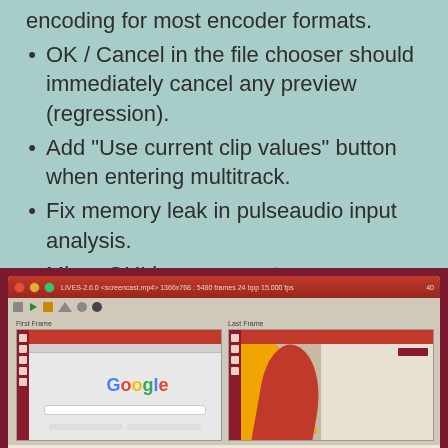encoding for most encoder formats.
OK / Cancel in the file chooser should immediately cancel any preview (regression).
Add “Use current clip values” button when entering multitrack.
Fix memory leak in pulseaudio input analysis.
Minor GUI improvements.
[Figure (screenshot): Screenshot of LIVES 2.6.0 video editor showing First Frame and Last Frame panels with a Google search page on the left and a decorative background on the right.]